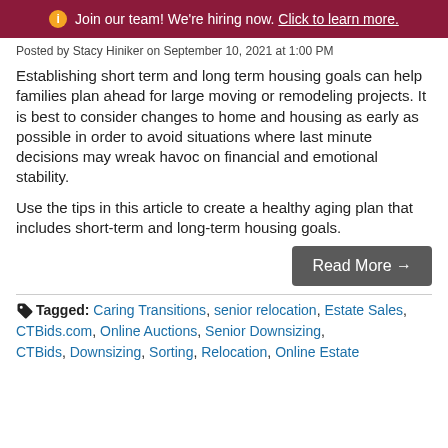Join our team! We're hiring now. Click to learn more.
Posted by Stacy Hiniker on September 10, 2021 at 1:00 PM
Establishing short term and long term housing goals can help families plan ahead for large moving or remodeling projects. It is best to consider changes to home and housing as early as possible in order to avoid situations where last minute decisions may wreak havoc on financial and emotional stability.
Use the tips in this article to create a healthy aging plan that includes short-term and long-term housing goals.
Read More →
Tagged: Caring Transitions, senior relocation, Estate Sales, CTBids.com, Online Auctions, Senior Downsizing, CTBids, Downsizing, Sorting, Relocation, Online Estate